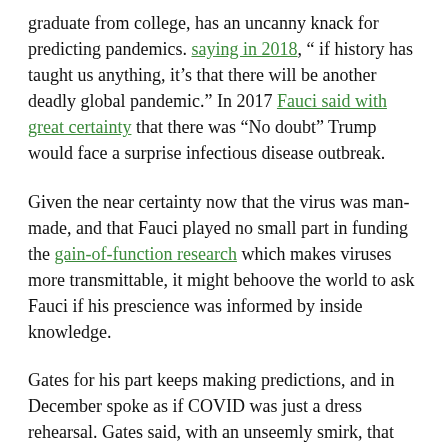graduate from college, has an uncanny knack for predicting pandemics. saying in 2018, " if history has taught us anything, it's that there will be another deadly global pandemic." In 2017 Fauci said with great certainty that there was "No doubt" Trump would face a surprise infectious disease outbreak.
Given the near certainty now that the virus was man-made, and that Fauci played no small part in funding the gain-of-function research which makes viruses more transmittable, it might behoove the world to ask Fauci if his prescience was informed by inside knowledge.
Gates for his part keeps making predictions, and in December spoke as if COVID was just a dress rehearsal. Gates said, with an unseemly smirk, that there will soon be another pandemic, which “this time,” “WILL get attention.”
Bill Gates in documentary: The next pandemic “WILL get attention.” (View Clip on Bitchute) (Full documentary on